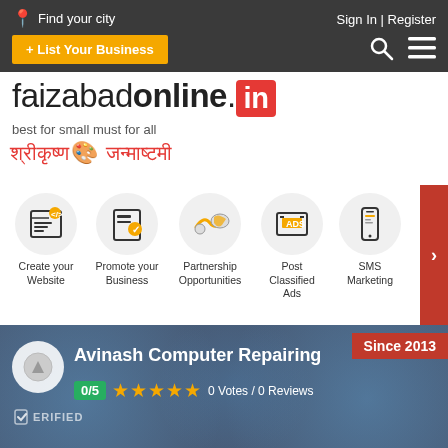Find your city | Sign In | Register
+ List Your Business
faizabadonline.in
best for small must for all
श्रीकृष्ण जन्माष्टमी
Create your Website | Promote your Business | Partnership Opportunities | Post Classified Ads | SMS Marketing
Avinash Computer Repairing
Since 2013
0/5  0 Votes / 0 Reviews
VERIFIED